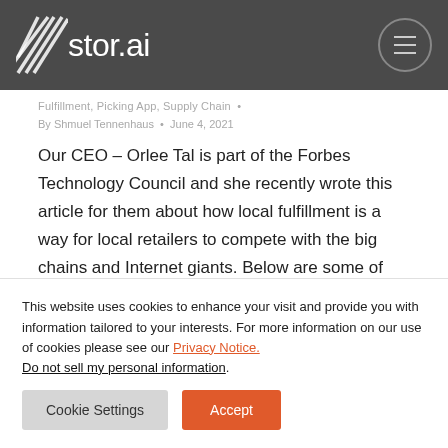stor.ai
Fulfillment, Picking App, Supply Chain •
By Shmuel Tennenhaus • June 4, 2021
Our CEO – Orlee Tal is part of the Forbes Technology Council and she recently wrote this article for them about how local fulfillment is a way for local retailers to compete with the big chains and Internet giants. Below are some of the main
This website uses cookies to enhance your visit and provide you with information tailored to your interests. For more information on our use of cookies please see our Privacy Notice. Do not sell my personal information.